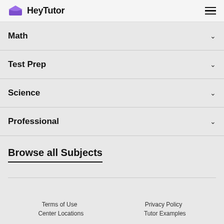HeyTutor
Math
Test Prep
Science
Professional
Browse all Subjects
Terms of Use | Privacy Policy | Center Locations | Tutor Examples